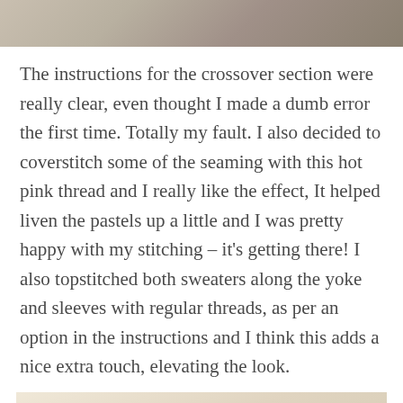[Figure (photo): Top portion of a photo showing a person wearing a colorful blue and pink patterned garment outdoors]
The instructions for the crossover section were really clear, even thought I made a dumb error the first time. Totally my fault. I also decided to coverstitch some of the seaming with this hot pink thread and I really like the effect, It helped liven the pastels up a little and I was pretty happy with my stitching – it's getting there! I also topstitched both sweaters along the yoke and sleeves with regular threads, as per an option in the instructions and I think this adds a nice extra touch, elevating the look.
[Figure (photo): Close-up photo of fabric seaming with pink coverstitch thread visible, soft pastel colored knit fabric with small pink dots pattern and a dark cord/string visible]